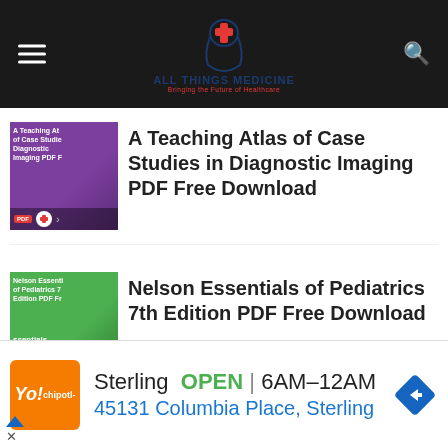All Things Medicine – Bringing the Future of Healthcare
[Figure (screenshot): Thumbnail for Teaching Atlas of Case Studies in Diagnostic Imaging – purple book cover with PDF badge and site logo]
A Teaching Atlas of Case Studies in Diagnostic Imaging PDF Free Download
[Figure (screenshot): Thumbnail for Nelson Essentials of Pediatrics 7th Edition – green book cover with PDF badge and site logo]
Nelson Essentials of Pediatrics 7th Edition PDF Free Download
LEAVE A REPLY
[Figure (other): Advertisement banner: Sterling store – OPEN 6AM–12AM – 45131 Columbia Place, Sterling]